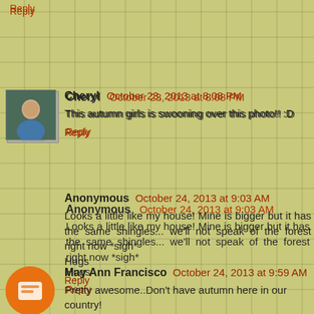Reply
Cheryl   October 23, 2013 at 8:08 PM
This autumn girls is swooning over this photo!! :D
Reply
Anonymous   October 24, 2013 at 9:03 AM
Looks a little like my house! Mine is bigger but it has the same shingles... we'll not speak of the forest right now *sigh*
Hugs
Reply
May Ann Francisco   October 24, 2013 at 9:59 AM
Pretty awesome..Don't have autumn here in our country!
Reply